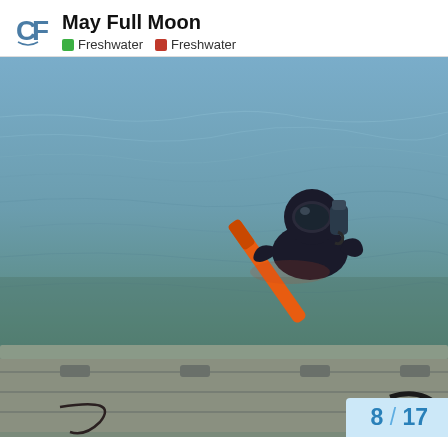May Full Moon
Freshwater  Freshwater
[Figure (photo): A scuba diver in black wetsuit and gear holding an orange dive float/marker buoy, swimming in open water (murky greenish-brown). The bottom portion of the image shows the gunwale and deck of a metal boat (aluminum), viewed from above.]
8 / 17